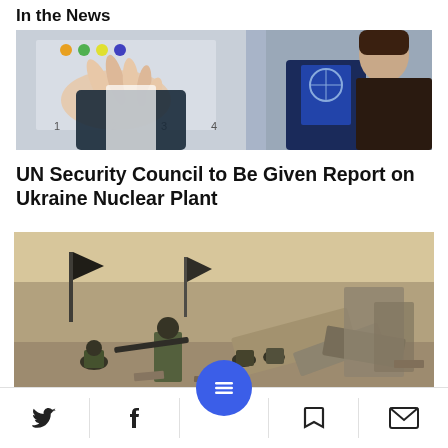In the News
[Figure (photo): Person in dark vest with UN/agency logo gesturing at a board with numbers 1-4, another woman visible to the right]
UN Security Council to Be Given Report on Ukraine Nuclear Plant
[Figure (photo): Armed fighters in an urban warzone with flags, rubble and destroyed structures in background]
Navigation bar with Twitter, Facebook, menu, bookmark, and email icons